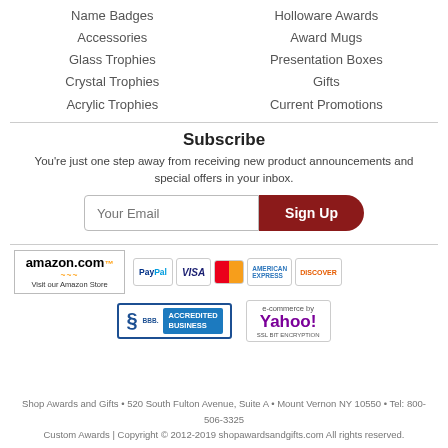Name Badges
Holloware Awards
Accessories
Award Mugs
Glass Trophies
Presentation Boxes
Crystal Trophies
Gifts
Acrylic Trophies
Current Promotions
Subscribe
You're just one step away from receiving new product announcements and special offers in your inbox.
[Figure (logo): Amazon.com Visit our Amazon Store logo box, PayPal, Visa, Mastercard, American Express, Discover payment icons, BBB Accredited Business badge, e-commerce by Yahoo badge]
Shop Awards and Gifts • 520 South Fulton Avenue, Suite A • Mount Vernon NY 10550 • Tel: 800-506-3325
Custom Awards | Copyright © 2012-2019 shopawardsandgifts.com All rights reserved.